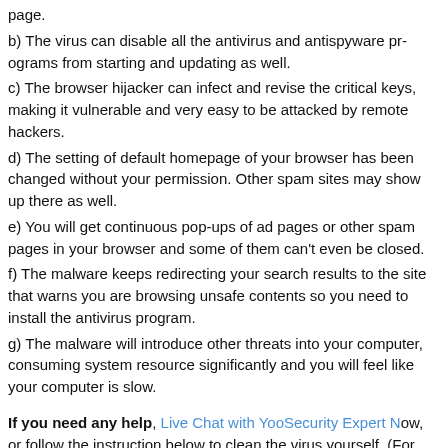page.
b) The virus can disable all the antivirus and antispyware programs from starting and updating as well.
c) The browser hijacker can infect and revise the critical keys, making it vulnerable and very easy to be attacked by remote hackers.
d) The setting of default homepage of your browser has been changed without your permission. Other spam sites may show up there as well.
e) You will get continuous pop-ups of ad pages or other spam pages in your browser and some of them can't even be closed.
f) The malware keeps redirecting your search results to the site that warns you are browsing unsafe contents so you need to install their antivirus program.
g) The malware will introduce other threats into your computer, consuming system resource significantly and you will feel like your computer is slow.
If you need any help, Live Chat with YooSecurity Expert Now, or follow the instruction below to clean the virus yourself. (For advanced computer users)